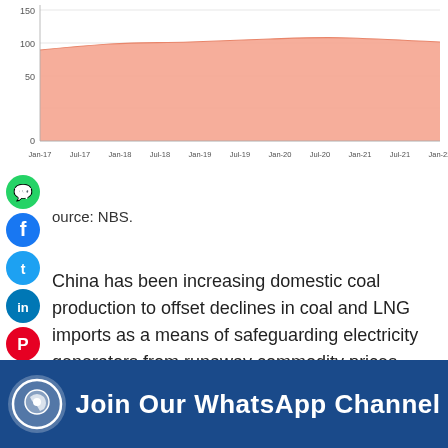[Figure (area-chart): Area chart showing China coal production data from Jan-17 to Jan-22, with salmon/pink colored area fill, y-axis from 0 to 150 with gridlines at 50, 100, 150.]
Source: NBS.
China has been increasing domestic coal production to offset declines in coal and LNG imports as a means of safeguarding electricity generators from runaway commodity prices, S&P Global Platts writes.
[Figure (infographic): Join Our WhatsApp Channel banner with blue background, WhatsApp icon and white text]